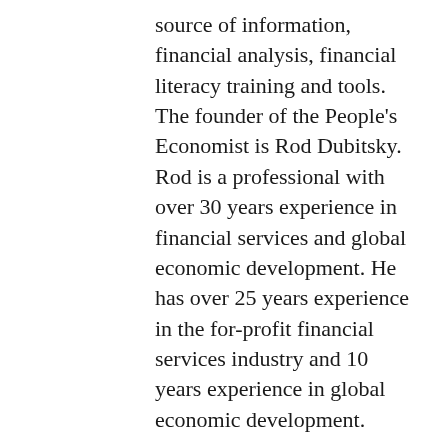source of information, financial analysis, financial literacy training and tools. The founder of the People's Economist is Rod Dubitsky. Rod is a professional with over 30 years experience in financial services and global economic development. He has over 25 years experience in the for-profit financial services industry and 10 years experience in global economic development.
While working in finance, Rod was a top ranked analyst for Credit Suisse in the consumer finance space and led the advisory analytics division with Pimco with responsibility for some of the largest post-